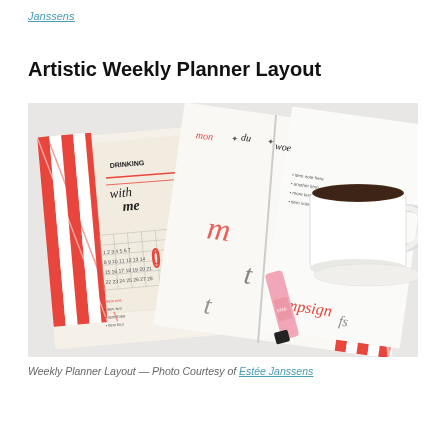Janssens
Artistic Weekly Planner Layout
[Figure (photo): Overhead photo of artistic weekly planner layout showing open bullet journals with handwritten calligraphy days of the week (mon, du, woe), red and white striped washi tape borders, a pink highlighter marker, and a white ceramic mug of tea/coffee on a light grey surface]
Weekly Planner Layout — Photo Courtesy of Estée Janssens